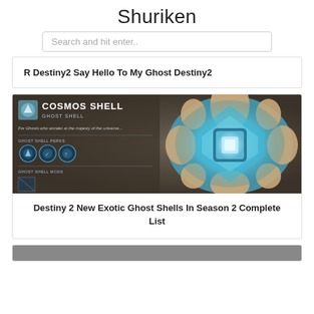Shuriken
Search and hit enter..
R Destiny2 Say Hello To My Ghost Destiny2
[Figure (screenshot): Destiny 2 game screenshot showing the Cosmos Shell ghost shell item card with teal/blue geometric ghost shell on a dark background]
Destiny 2 New Exotic Ghost Shells In Season 2 Complete List